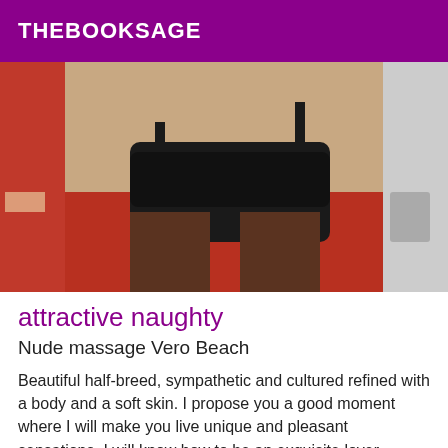THEBOOKSAGE
[Figure (photo): Close-up photo of a person wearing black lace lingerie against a red and neutral background]
attractive naughty
Nude massage Vero Beach
Beautiful half-breed, sympathetic and cultured refined with a body and a soft skin. I propose you a good moment where I will make you live unique and pleasant sensations. I will know how to be an exquisite lover. Prostate massage, rose petal, sex toys, soft domination